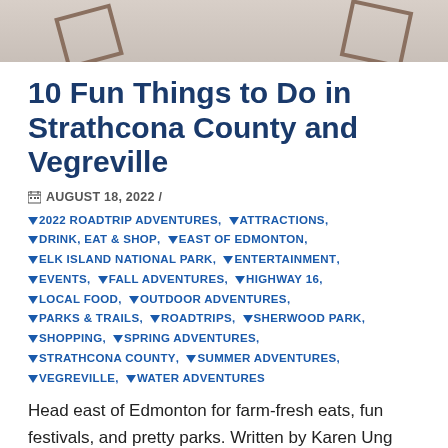[Figure (photo): Partial view of a photo strip at top of page showing decorative frame borders on a light beige/grey background]
10 Fun Things to Do in Strathcona County and Vegreville
AUGUST 18, 2022 /
2022 ROADTRIP ADVENTURES, ATTRACTIONS, DRINK, EAT & SHOP, EAST OF EDMONTON, ELK ISLAND NATIONAL PARK, ENTERTAINMENT, EVENTS, FALL ADVENTURES, HIGHWAY 16, LOCAL FOOD, OUTDOOR ADVENTURES, PARKS & TRAILS, ROADTRIPS, SHERWOOD PARK, SHOPPING, SPRING ADVENTURES, STRATHCONA COUNTY, SUMMER ADVENTURES, VEGREVILLE, WATER ADVENTURES
Head east of Edmonton for farm-fresh eats, fun festivals, and pretty parks. Written by Karen Ung Enjoy farm-to-fork dining and nature in Strathcona County and Vegreville. With Sherwood Park as your base camp, explore Strathcona County's many parks, meet